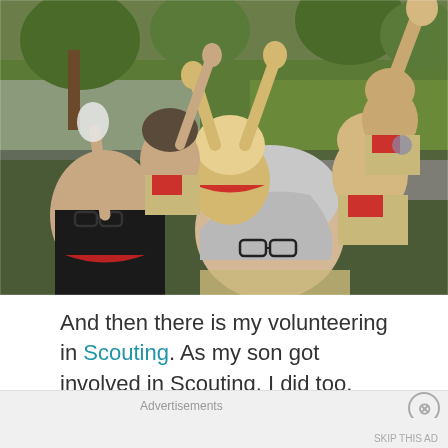[Figure (photo): A group selfie-style photo of children and adults in Boy Scout uniforms (tan shirts, red neckerchiefs) outdoors on a suburban street with trees and grass. Multiple people are raising their hands making gestures. A woman with gray hair and glasses is in the foreground, and a teen with dark hair and glasses is on the left. Kids in the background are cheering.]
And then there is my volunteering in Scouting. As my son got involved in Scouting, I did too. First in
Advertisements